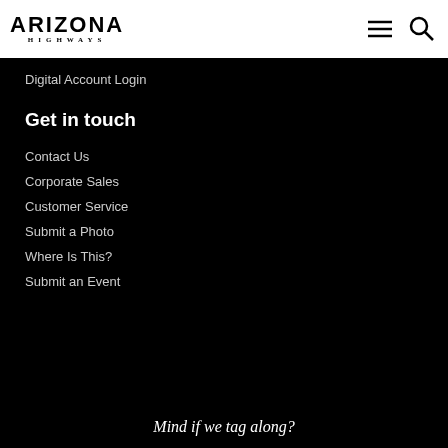ARIZONA HIGHWAYS
Digital Account Login
Get in touch
Contact Us
Corporate Sales
Customer Service
Submit a Photo
Where Is This?
Submit an Event
Mind if we tag along?